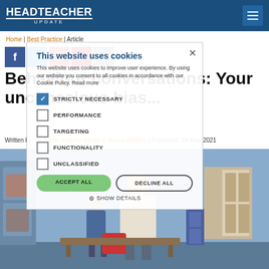HEADTEACHER UPDATE
Home | Best Practice | Article
Behaviour conversations: Your unconscious bias...
Written by: Dr Fiona Aubrey-Smith & Marva Rollins | Published: 04 May 2021
[Figure (photo): Photo of a teacher talking with a student in a school corridor/cloakroom area]
[Figure (screenshot): Cookie consent overlay with options: Strictly Necessary (checked), Performance, Targeting, Functionality, Unclassified, and buttons: Accept All, Decline All, Show Details]